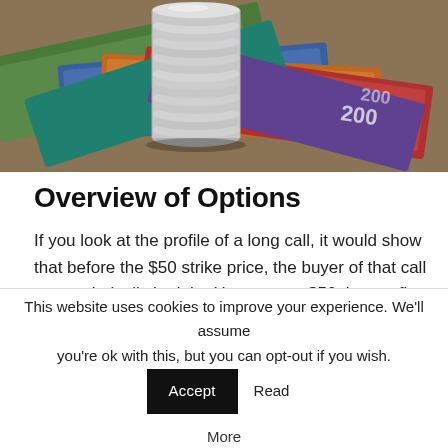[Figure (photo): Stack of silver coins on top of colorful paper banknotes/currency bills spread out on a surface]
Overview of Options
If you look at the profile of a long call, it would show that before the $50 strike price, the buyer of that call was technically in debt. However, at $50 that profit begins to go up to at least a point of
This website uses cookies to improve your experience. We'll assume you're ok with this, but you can opt-out if you wish. Accept Read More